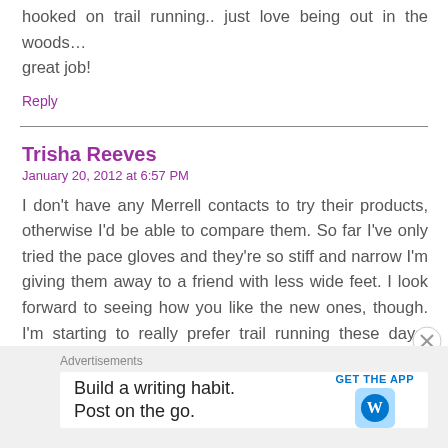hooked on trail running.. just love being out in the woods… great job!
Reply
Trisha Reeves
January 20, 2012 at 6:57 PM
I don't have any Merrell contacts to try their products, otherwise I'd be able to compare them. So far I've only tried the pace gloves and they're so stiff and narrow I'm giving them away to a friend with less wide feet. I look forward to seeing how you like the new ones, though. I'm starting to really prefer trail running these days. Although there are less and less actual trails around here now, as they're starting to pave everything for bikes. Boo. Thanks for reading!
Reply
Advertisements
Build a writing habit. Post on the go.
GET THE APP